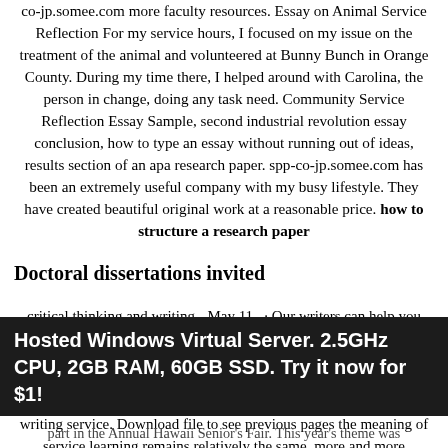co-jp.somee.com more faculty resources. Essay on Animal Service Reflection For my service hours, I focused on my issue on the treatment of the animal and volunteered at Bunny Bunch in Orange County. During my time there, I helped around with Carolina, the person in change, doing any task need. Community Service Reflection Essay Sample, second industrial revolution essay conclusion, how to type an essay without running out of ideas, results section of an apa research paper. spp-co-jp.somee.com has been an extremely useful company with my busy lifestyle. They have created beautiful original work at a reasonable price. how to structure a research paper
Doctoral dissertations invited
critical thinking and writing - May 11,  · Our writers can help you with any type of essay. For any subject. GET YOUR PRICE. From 3 hours. writer online. % plagiarism free. Catholic Social Justice Community Service Reflection. We will send an essay sample to you in 2 Hours. If you need help faster you can always use our custom writing service. Download file to see previous pages the meaning of service learning remains relatively the same, more and more exposure to the practice results in improved experiences and
Hosted Windows Virtual Server. 2.5GHz CPU, 2GB RAM, 60GB SSD. Try it now for $1!
Wilson Home Care takes part in the Annual Hawaii Senior's Fair. This year's theme was